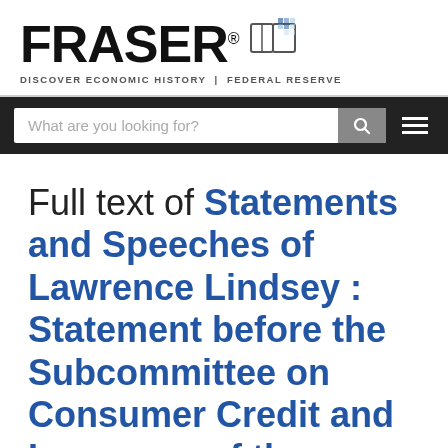FRASER® DISCOVER ECONOMIC HISTORY | FEDERAL RESERVE
What are you looking for?
Full text of Statements and Speeches of Lawrence Lindsey : Statement before the Subcommittee on Consumer Credit and Insurance of the Committee on Banking